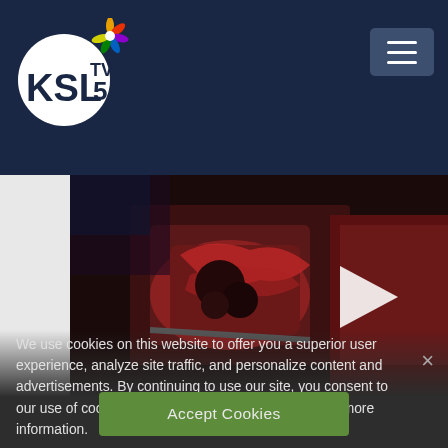[Figure (logo): KSL TV 5 NBC logo — white circle with KSL text, TV 5 and NBC peacock icon, on dark navy background]
[Figure (screenshot): Hamburger menu button (three horizontal lines) on dark blue-grey background, top right of header]
[Figure (photo): Video thumbnail of a car crash scene at night with red/dark tones and a white play button triangle overlay]
We use cookies on this website to offer you a superior user experience, analyze site traffic, and personalize content and advertisements. By continuing to use our site, you consent to our use of cookies. Please visit our Privacy Policy for more information.
Accept Cookies